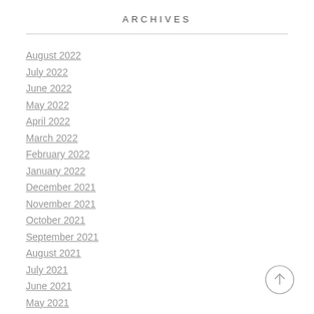ARCHIVES
August 2022
July 2022
June 2022
May 2022
April 2022
March 2022
February 2022
January 2022
December 2021
November 2021
October 2021
September 2021
August 2021
July 2021
June 2021
May 2021
April 2021
December 2020